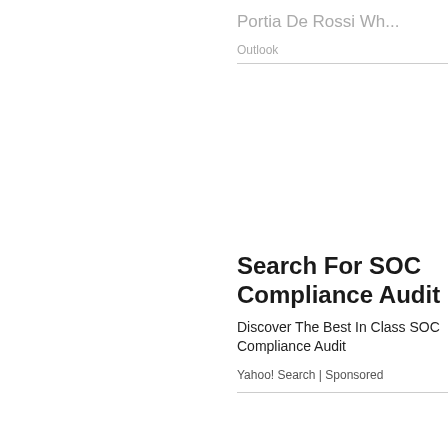Portia De Rossi Wh...
Outlook
Search For SOC Compliance Audit
Discover The Best In Class SOC Compliance Audit
Yahoo! Search | Sponsored